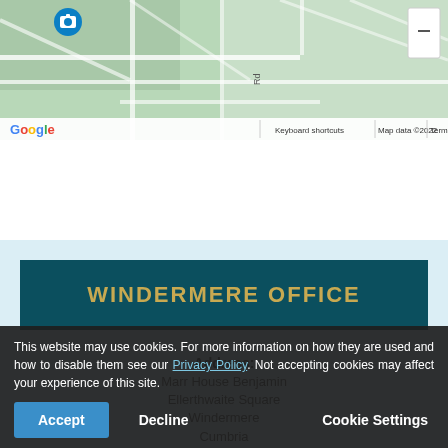[Figure (map): Google Maps screenshot showing a location in Windermere area with a camera/street view pin marker. Map shows green terrain with white roads. Bottom bar shows 'Keyboard shortcuts', 'Map data ©2022', 'Terms of Use'. Google logo visible bottom left.]
WINDERMERE OFFICE
Address:
Marr House Benjamin
Ellerthwaite Square
Windermere
Cumbria
LA23 1DU
This website may use cookies. For more information on how they are used and how to disable them see our Privacy Policy. Not accepting cookies may affect your experience of this site.